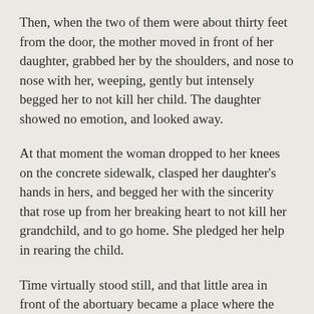Then, when the two of them were about thirty feet from the door, the mother moved in front of her daughter, grabbed her by the shoulders, and nose to nose with her, weeping, gently but intensely begged her to not kill her child. The daughter showed no emotion, and looked away.
At that moment the woman dropped to her knees on the concrete sidewalk, clasped her daughter's hands in hers, and begged her with the sincerity that rose up from her breaking heart to not kill her grandchild, and to go home. She pledged her help in rearing the child.
Time virtually stood still, and that little area in front of the abortuary became a place where the culture of life met the culture of death head on, where the forces of evil that prowl the world seeking the ruin of souls made their assault on truth and life. My colleagues